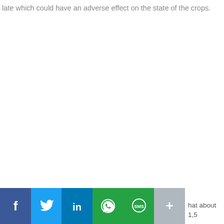late which could have an adverse effect on the state of the crops.
[Figure (other): Social media share bar with buttons: Facebook (blue), Twitter (light blue), LinkedIn (dark blue), WhatsApp (green), SMS (green), More/Plus (gray)]
hat about 1,5